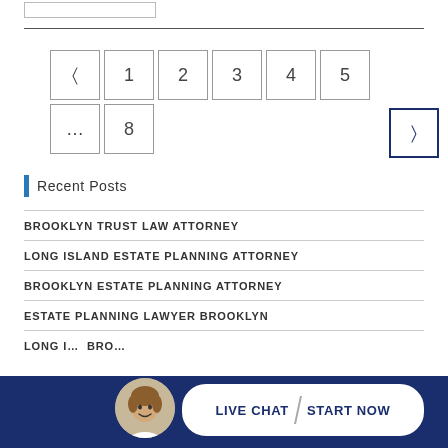[Figure (other): Search input box (partial)]
[Figure (other): Pagination navigation with buttons: back arrow, 1, 2, 3, 4, 5, ..., 8, and next arrow]
Recent Posts
BROOKLYN TRUST LAW ATTORNEY
LONG ISLAND ESTATE PLANNING ATTORNEY
BROOKLYN ESTATE PLANNING ATTORNEY
ESTATE PLANNING LAWYER BROOKLYN
LONG I... BRO...
[Figure (other): Live chat bar with avatar and pill button: LIVE CHAT > START NOW]